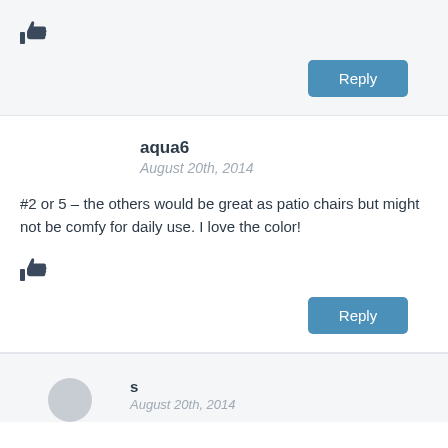[Figure (other): Thumbs up icon]
Reply
aqua6
August 20th, 2014
#2 or 5 – the others would be great as patio chairs but might not be comfy for daily use. I love the color!
[Figure (other): Thumbs up icon]
Reply
s
August 20th, 2014